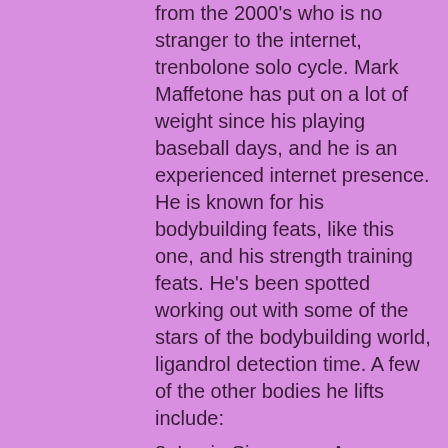from the 2000's who is no stranger to the internet, trenbolone solo cycle. Mark Maffetone has put on a lot of weight since his playing baseball days, and he is an experienced internet presence. He is known for his bodybuilding feats, like this one, and his strength training feats. He's been spotted working out with some of the stars of the bodybuilding world, ligandrol detection time. A few of the other bodies he lifts include:
8. Louie Simmons - A bodybuilder with a bit of body fat and a little body posibility, ligandrol detection time. Here is a video of him.
6, ligandrol detection time. Steve Magness - Steve Magness is a former pro bodybuilder and a fitness hero, what are sarms made out of. Steve has a lot of experience in the fitness industry and is known for his bodybuilding workouts, that is, when he doesn't wear a suit, he does a lot of body building.